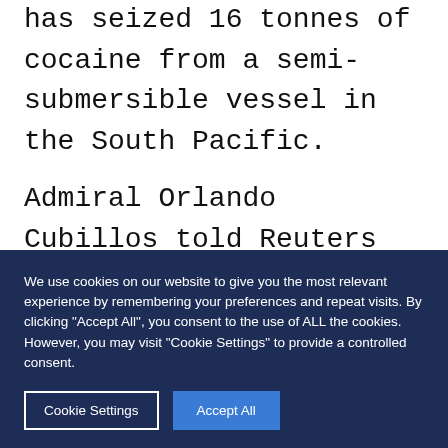has seized 16 tonnes of cocaine from a semi-submersible vessel in the South Pacific.

Admiral Orlando Cubillos told Reuters that people manning the boat jumped into the water when they saw the authorities and fled to a mangrove area, abandoning the semi-submersible loaded with the drugs. The drugs found aboard the 17-
We use cookies on our website to give you the most relevant experience by remembering your preferences and repeat visits. By clicking "Accept All", you consent to the use of ALL the cookies. However, you may visit "Cookie Settings" to provide a controlled consent.